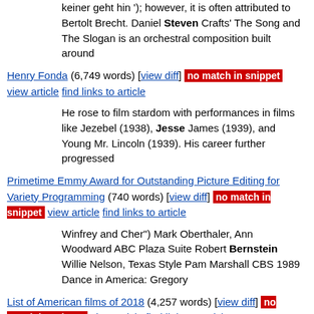keiner geht hin'); however, it is often attributed to Bertolt Brecht. Daniel Steven Crafts' The Song and The Slogan is an orchestral composition built around
Henry Fonda (6,749 words) [view diff] no match in snippet view article find links to article
He rose to film stardom with performances in films like Jezebel (1938), Jesse James (1939), and Young Mr. Lincoln (1939). His career further progressed
Primetime Emmy Award for Outstanding Picture Editing for Variety Programming (740 words) [view diff] no match in snippet view article find links to article
Winfrey and Cher") Mark Oberthaler, Ann Woodward ABC Plaza Suite Robert Bernstein Willie Nelson, Texas Style Pam Marshall CBS 1989 Dance in America: Gregory
List of American films of 2018 (4,257 words) [view diff] no match in snippet view article find links to article
10, 2017. "Forever My Girl". Box Office Mojo.